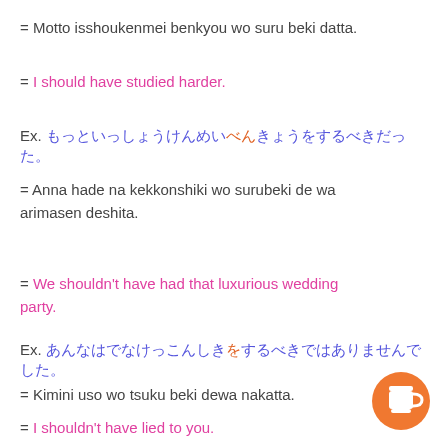= Motto isshoukenmei benkyou wo suru beki datta.
= I should have studied harder.
Ex. [Japanese text with blue and orange characters]
= Anna hade na kekkonshiki wo surubeki de wa arimasen deshita.
= We shouldn't have had that luxurious wedding party.
Ex. [Japanese text with blue and orange characters]
= Kimini uso wo tsuku beki dewa nakatta.
= I shouldn't have lied to you.